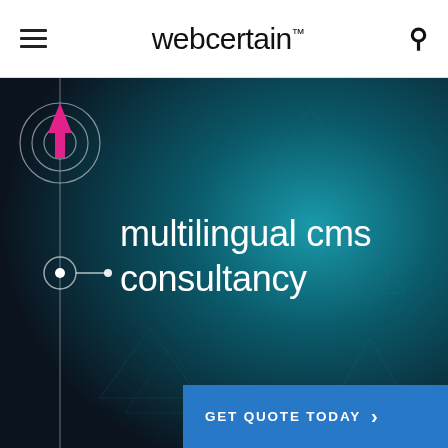webcertain™
[Figure (illustration): Webcertain website screenshot showing a dark navy/teal hero banner with decorative circular concentric rings with a pink upward arrow on the left side, a vertical line with a circle node, and the text 'multilingual cms consultancy' in white, along with a blue 'GET QUOTE TODAY' CTA button at the bottom right.]
multilingual cms consultancy
GET QUOTE TODAY